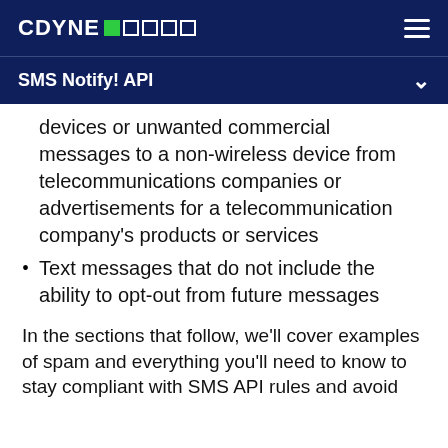CDYNE [logo icons] [hamburger menu]
SMS Notify! API
devices or unwanted commercial messages to a non-wireless device from telecommunications companies or advertisements for a telecommunication company's products or services
Text messages that do not include the ability to opt-out from future messages
In the sections that follow, we'll cover examples of spam and everything you'll need to know to stay compliant with SMS API rules and avoid